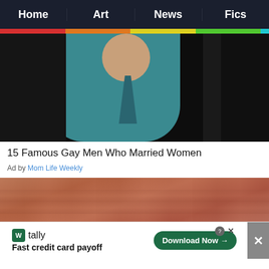Home | Art | News | Fics
[Figure (photo): Dark photo of a person wearing a teal/blue dress shirt and tie against a dark background, cropped at neck level]
15 Famous Gay Men Who Married Women
Ad by Mom Life Weekly
[Figure (photo): Close-up macro photo of what appears to be wrinkled skin texture in pink/brown tones]
[Figure (screenshot): Ad banner for Tally app: 'Fast credit card payoff' with a Download Now button]